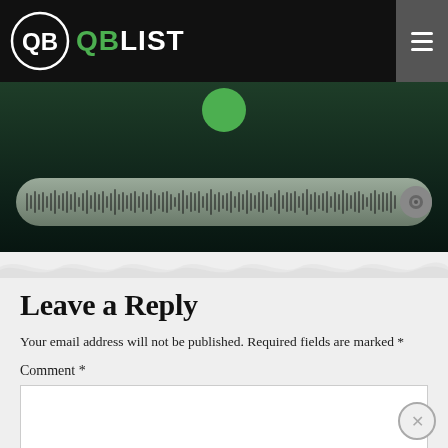QB LIST
[Figure (screenshot): Audio waveform player embedded in a dark green media player UI]
Leave a Reply
Your email address will not be published. Required fields are marked *
Comment *